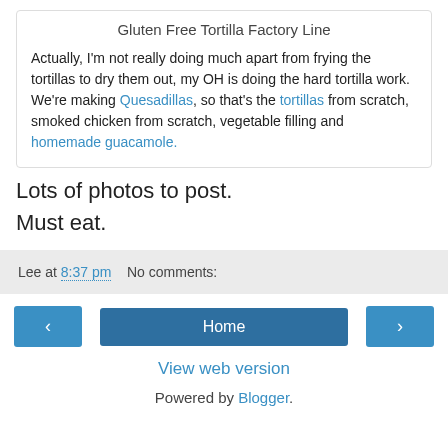Gluten Free Tortilla Factory Line
Actually, I'm not really doing much apart from frying the tortillas to dry them out, my OH is doing the hard tortilla work. We're making Quesadillas, so that's the tortillas from scratch, smoked chicken from scratch, vegetable filling and homemade guacamole.
Lots of photos to post.
Must eat.
Lee at 8:37 pm    No comments:
< Home > View web version Powered by Blogger.